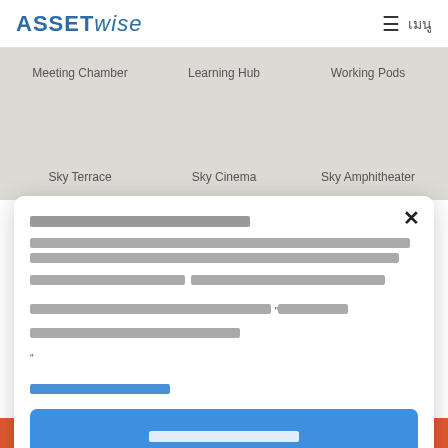[Figure (logo): AssetWise logo in blue on white header with hamburger menu and Thai text เมนู on right]
Meeting Chamber
Learning Hub
Working Pods
Sky Terrace
Sky Cinema
Sky Amphitheater
[Thai text - modal title in Thai language]
[Thai body text describing terms or conditions with quoted Thai text]
[Thai link text]
[Thai button text - accept/confirm action]
[Thai skip/cancel link text]
FLOOR PLAN